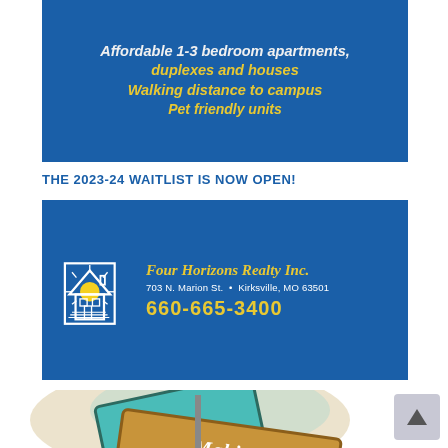[Figure (infographic): Blue banner ad: 'Affordable 1-3 bedroom apartments, duplexes and houses / Walking distance to campus / Pet friendly units']
THE 2023-24 WAITLIST IS NOW OPEN!
[Figure (infographic): Blue banner ad for Four Horizons Realty Inc. with house/sun logo, address 703 N. Marion St., Kirksville, MO 63501, phone 660-665-3400]
[Figure (illustration): Colorful illustrated road signs with 'Making Kirksville...' text, street sign style illustration with teal and yellow/brown signs]